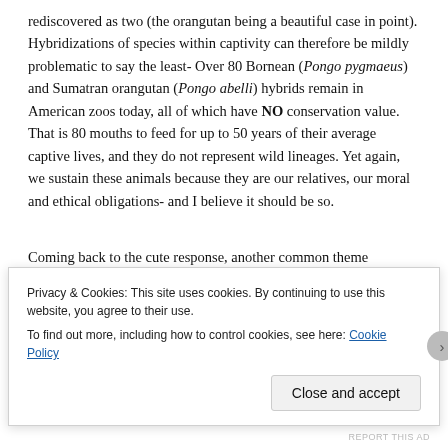rediscovered as two (the orangutan being a beautiful case in point). Hybridizations of species within captivity can therefore be mildly problematic to say the least- Over 80 Bornean (Pongo pygmaeus) and Sumatran orangutan (Pongo abelli) hybrids remain in American zoos today, all of which have NO conservation value. That is 80 mouths to feed for up to 50 years of their average captive lives, and they do not represent wild lineages. Yet again, we sustain these animals because they are our relatives, our moral and ethical obligations- and I believe it should be so.
Coming back to the cute response, another common theme depicted throughout the zoo-debate literature is the over-
[partially obscured text lines]
Privacy & Cookies: This site uses cookies. By continuing to use this website, you agree to their use.
To find out more, including how to control cookies, see here: Cookie Policy
Close and accept